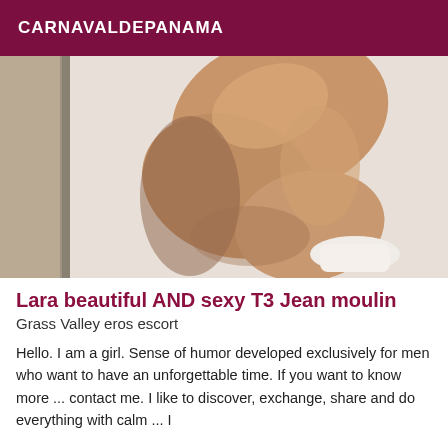CARNAVALDEPANAMA
[Figure (photo): Close-up photo of a person's legs and lower body, wearing white heels, posed against a white background with a door frame visible.]
Lara beautiful AND sexy T3 Jean moulin
Grass Valley eros escort
Hello. I am a girl. Sense of humor developed exclusively for men who want to have an unforgettable time. If you want to know more ... contact me. I like to discover, exchange, share and do everything with calm ... I